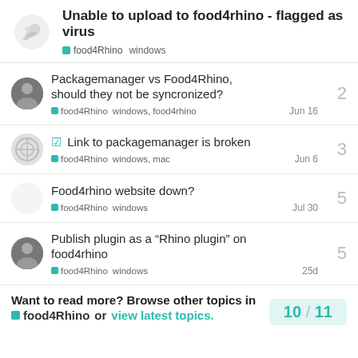Unable to upload to food4rhino - flagged as virus
food4Rhino  windows
Packagemanager vs Food4Rhino, should they not be syncronized?
food4Rhino  windows, food4rhino  Jun 16
Replies: 2
✓ Link to packagemanager is broken
food4Rhino  windows, mac  Jun 6
Replies: 3
Food4rhino website down?
food4Rhino  windows  Jul 30
Replies: 5
Publish plugin as a "Rhino plugin" on food4rhino
food4Rhino  windows  25d
Replies: 5
Want to read more? Browse other topics in food4Rhino or view latest topics.
10 / 11